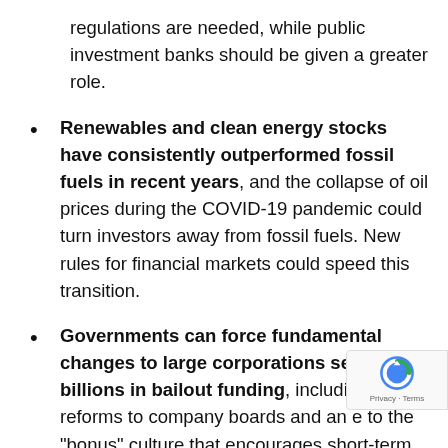regulations are needed, while public investment banks should be given a greater role.
Renewables and clean energy stocks have consistently outperformed fossil fuels in recent years, and the collapse of oil prices during the COVID-19 pandemic could turn investors away from fossil fuels. New rules for financial markets could speed this transition.
Governments can force fundamental changes to large corporations seeking billions in bailout funding, including reforms to company boards and an end to the "bonus" culture that encourages short-term profiteering over social and